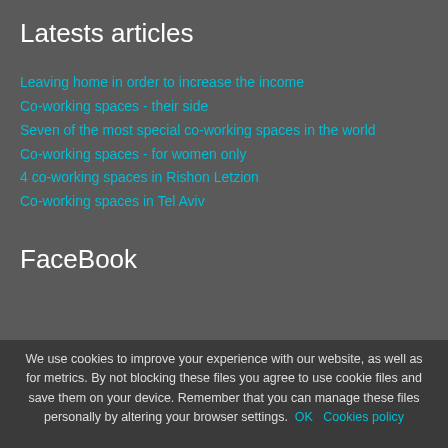Latests articles
Leaving home in order to increase the income
Co-working spaces - their side
Seven of the most special co-working spaces in the world
Co-working spaces - for women only
4 co-working spaces in Rishon Letzion
Co-working spaces in Tel Aviv
FaceBook
We use cookies to improve your experience with our website, as well as for metrics. By not blocking these files you agree to use cookie files and save them on your device. Remember that you can manage these files personally by altering your browser settings. OK Cookies policy